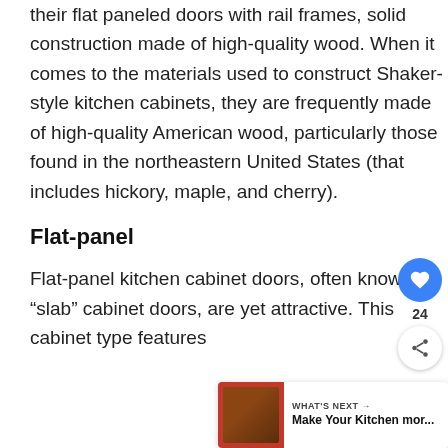their flat paneled doors with rail frames, solid construction made of high-quality wood. When it comes to the materials used to construct Shaker-style kitchen cabinets, they are frequently made of high-quality American wood, particularly those found in the northeastern United States (that includes hickory, maple, and cherry).
Flat-panel
Flat-panel kitchen cabinet doors, often known as “slab” cabinet doors, are yet attractive. This cabinet type features